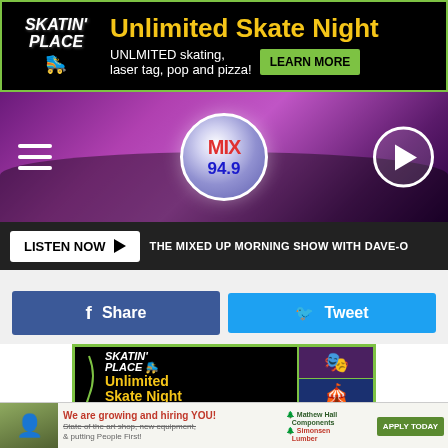[Figure (infographic): Skatin' Place banner ad: Unlimited Skate Night - UNLMITED skating, laser tag, pop and pizza! LEARN MORE button]
[Figure (photo): Mix 94.9 radio station header with purple concert crowd background, hamburger menu, Mix 94.9 logo circle, play button]
LISTEN NOW ▶  THE MIXED UP MORNING SHOW WITH DAVE-O
Share
Tweet
[Figure (infographic): Skatin' Place large ad: Unlimited Skate Night, UNLMITED skating, laser tag, with roller rink photos]
[Figure (infographic): Mathew Hall Components / Simonsen Lumber hiring ad: We are growing and hiring YOU! State of the art shop, new equipment, & putting People First! APPLY TODAY]